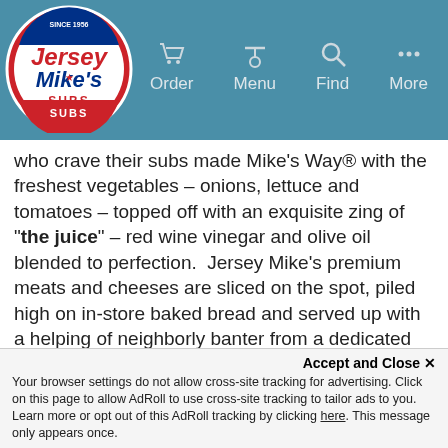[Figure (logo): Jersey Mike's Subs logo - circular logo with red and white colors, 'Since 1956' text at top]
Order   Menu   Find   More
who crave their subs made Mike's Way® with the freshest vegetables – onions, lettuce and tomatoes – topped off with an exquisite zing of "the juice" – red wine vinegar and olive oil blended to perfection.  Jersey Mike's premium meats and cheeses are sliced on the spot, piled high on in-store baked bread and served up with a helping of neighborly banter from a dedicated and high-energy team.
CEO Peter Cancro started the company at age 17, before he was even legally able to slice a sub.  The company remains committed to making a difference in the communities it serves. Since 2010, Jersey Mike's locations throughout the country have raised nearly $14 million for worthy local charities and have distributed more than 1.5 million free sub sandwiches to
Accept and Close ✕
Your browser settings do not allow cross-site tracking for advertising. Click on this page to allow AdRoll to use cross-site tracking to tailor ads to you. Learn more or opt out of this AdRoll tracking by clicking here. This message only appears once.